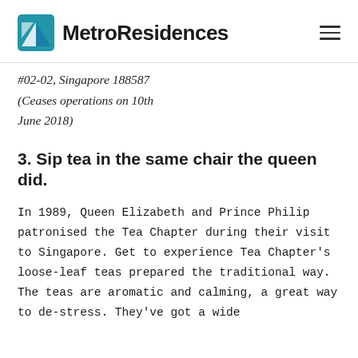MetroResidences
#02-02, Singapore 188587 (Ceases operations on 10th June 2018)
3. Sip tea in the same chair the queen did.
In 1989, Queen Elizabeth and Prince Philip patronised the Tea Chapter during their visit to Singapore. Get to experience Tea Chapter's loose-leaf teas prepared the traditional way. The teas are aromatic and calming, a great way to de-stress. They've got a wide